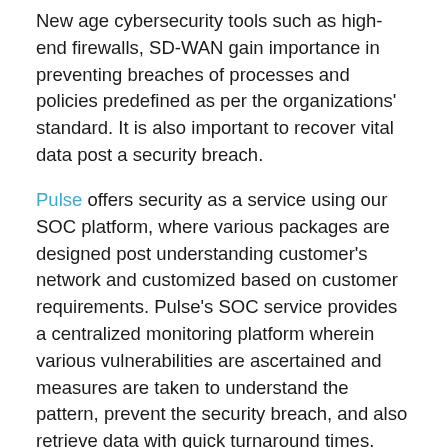New age cybersecurity tools such as high-end firewalls, SD-WAN gain importance in preventing breaches of processes and policies predefined as per the organizations' standard. It is also important to recover vital data post a security breach.
Pulse offers security as a service using our SOC platform, where various packages are designed post understanding customer's network and customized based on customer requirements. Pulse's SOC service provides a centralized monitoring platform wherein various vulnerabilities are ascertained and measures are taken to understand the pattern, prevent the security breach, and also retrieve data with quick turnaround times.